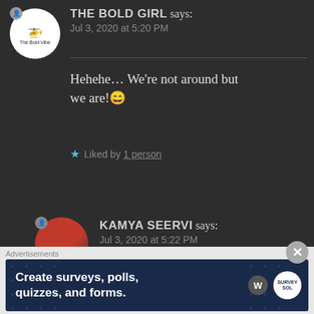THE BOLD GIRL says: Jul 3, 2020 at 5:20 PM
Hehehe… We're not around but we are! 😄
★ Liked by 1 person
KAMYA SEERVI says: Jul 3, 2020 at 5:22 PM
Okay 😄
★ Liked by 1 person
Advertisements
[Figure (infographic): Advertisement banner: Create surveys, polls, quizzes, and forms. Dark blue background with WordPress logo and Survey Sol icon.]